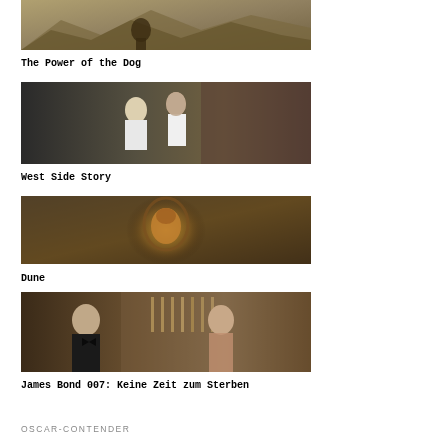[Figure (photo): Movie still from The Power of the Dog – landscape scene with figures]
The Power of the Dog
[Figure (photo): Movie still from West Side Story – two people facing each other in close embrace]
West Side Story
[Figure (photo): Movie still from Dune – atmospheric dark scene with a figure illuminated in golden light]
Dune
[Figure (photo): Movie still from James Bond 007: Keine Zeit zum Sterben – two characters in a bar setting]
James Bond 007: Keine Zeit zum Sterben
OSCAR-CONTENDER